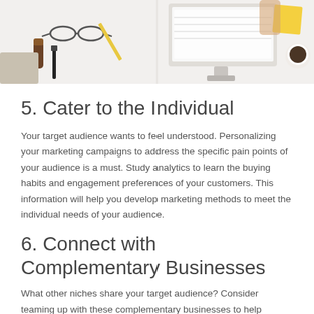[Figure (photo): Overhead/flat-lay photo of a desk workspace with keyboard, monitor, glasses, notebook, coffee cup, and other office items on a white surface]
5. Cater to the Individual
Your target audience wants to feel understood. Personalizing your marketing campaigns to address the specific pain points of your audience is a must. Study analytics to learn the buying habits and engagement preferences of your customers. This information will help you develop marketing methods to meet the individual needs of your audience.
6. Connect with Complementary Businesses
What other niches share your target audience? Consider teaming up with these complementary businesses to help